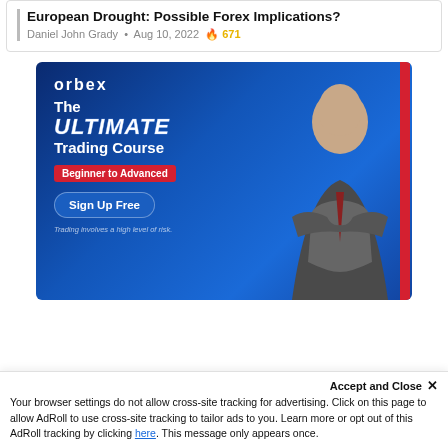European Drought: Possible Forex Implications?
Daniel John Grady • Aug 10, 2022 🔥 671
[Figure (illustration): Orbex advertisement banner. Blue gradient background. Text reads: orbex | The ULTIMATE Trading Course | Beginner to Advanced | Sign Up Free. Trading involves a high level of risk. Features a man in a suit with arms crossed on the right side.]
Accept and Close ✕
Your browser settings do not allow cross-site tracking for advertising. Click on this page to allow AdRoll to use cross-site tracking to tailor ads to you. Learn more or opt out of this AdRoll tracking by clicking here. This message only appears once.